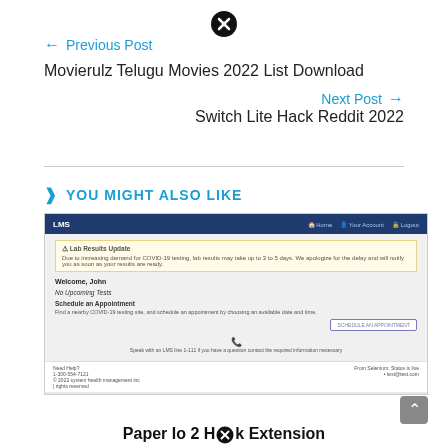[Figure (other): Close (X) button icon at top center]
← Previous Post
Movierulz Telugu Movies 2022 List Download
Next Post →
Switch Lite Hack Reddit 2022
> YOU MIGHT ALSO LIKE
[Figure (screenshot): Screenshot of an LMS (Lab/Learning Management System) web portal showing a lab results update notification, welcome message for John, no upcoming tests, and a schedule an appointment section.]
Paper Io 2 H✖k Extension